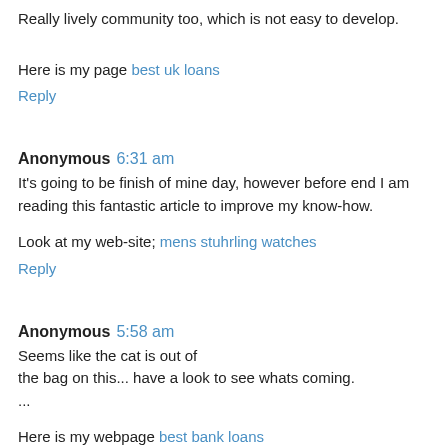Really lively community too, which is not easy to develop.
Here is my page best uk loans
Reply
Anonymous 6:31 am
It's going to be finish of mine day, however before end I am reading this fantastic article to improve my know-how.
Look at my web-site; mens stuhrling watches
Reply
Anonymous 5:58 am
Seems like the cat is out of the bag on this... have a look to see whats coming. ...
Here is my webpage best bank loans